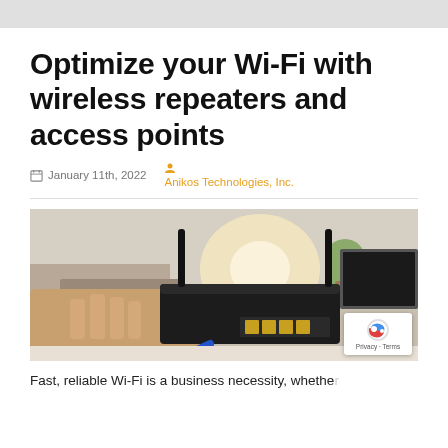Optimize your Wi-Fi with wireless repeaters and access points
January 11th, 2022  Anikos Technologies, Inc.
[Figure (photo): Close-up photo of a black wireless router with antennas and ethernet ports on a desk, with a person typing on a laptop in the background]
Fast, reliable Wi-Fi is a business necessity, whether